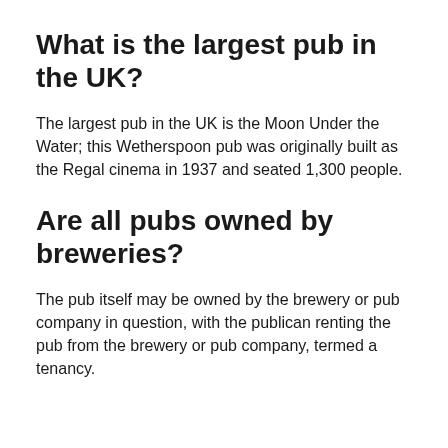What is the largest pub in the UK?
The largest pub in the UK is the Moon Under the Water; this Wetherspoon pub was originally built as the Regal cinema in 1937 and seated 1,300 people.
Are all pubs owned by breweries?
The pub itself may be owned by the brewery or pub company in question, with the publican renting the pub from the brewery or pub company, termed a tenancy.